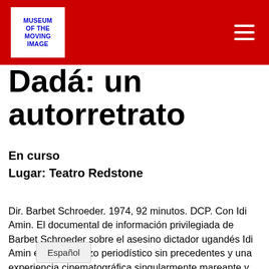[Figure (logo): Museum of the Moving Image logo — white box with blue bold text on red header bar]
Dadá: un autorretrato
En curso
Lugar: Teatro Redstone
Dir. Barbet Schroeder. 1974, 92 minutos. DCP. Con Idi Amin. El documental de información privilegiada de Barbet Schroeder sobre el asesino dictador ugandés Idi Amin es un esfuerzo periodístico sin precedentes y una experiencia cinematográfica singularmente mareante y sorprendentemente divertida. General Idi Amin Dadá sigue a su tema más grande que la vida mientras desafía a su público en un partido de natación, toca el acordeón, habla de la fauna silvestre mientras navega por una